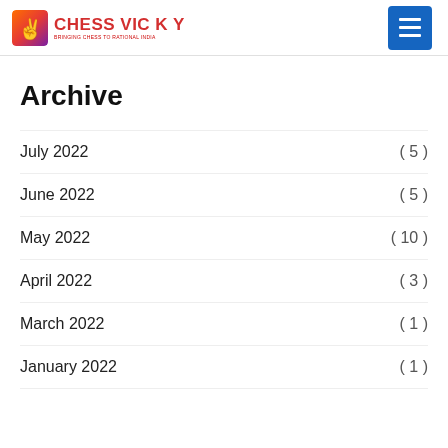CHESS VICKY — Bringing Chess to Rational India
Archive
July 2022 ( 5 )
June 2022 ( 5 )
May 2022 ( 10 )
April 2022 ( 3 )
March 2022 ( 1 )
January 2022 ( 1 )